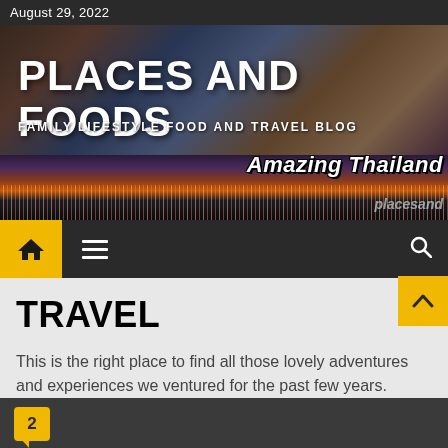August 29, 2022
[Figure (photo): Blog header banner showing family photos collage with city night skyline, with text 'PLACES AND FOODS', 'FAMILY LIFESTYLE FOOD AND TRAVEL BLOG', 'Amazing Thailand', 'placesand']
PLACES AND FOODS
FAMILY LIFESTYLE FOOD AND TRAVEL BLOG
TRAVEL
This is the right place to find all those lovely adventures and experiences we ventured for the past few years.